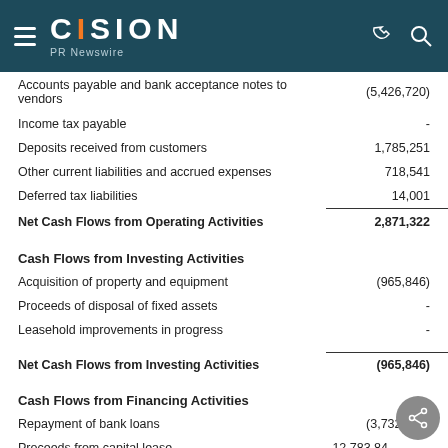CISION PR Newswire
| Description | Amount |
| --- | --- |
| Accounts payable and bank acceptance notes to vendors | (5,426,720) |
| Income tax payable | - |
| Deposits received from customers | 1,785,251 |
| Other current liabilities and accrued expenses | 718,541 |
| Deferred tax liabilities | 14,001 |
| Net Cash Flows from Operating Activities | 2,871,322 |
| Cash Flows from Investing Activities |  |
| Acquisition of property and equipment | (965,846) |
| Proceeds of disposal of fixed assets | - |
| Leasehold improvements in progress | - |
| Net Cash Flows from Investing Activities | (965,846) |
| Cash Flows from Financing Activities |  |
| Repayment of bank loans | (3,732,075) |
| Proceeds from capital lease | 12,783,84… |
| Repayment of capital lease | (9,550,87…) |